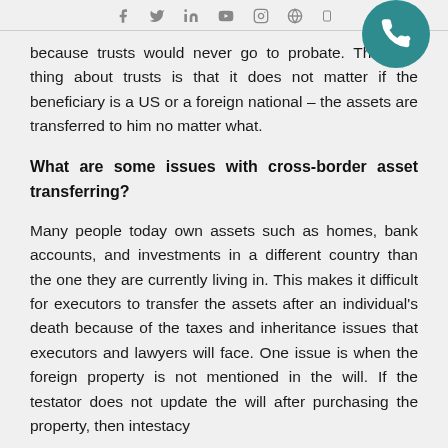Social media icons: f, twitter, in, youtube, instagram, globe, mobile
because trusts would never go to probate. The best thing about trusts is that it does not matter if the beneficiary is a US or a foreign national – the assets are transferred to him no matter what.
What are some issues with cross-border asset transferring?
Many people today own assets such as homes, bank accounts, and investments in a different country than the one they are currently living in. This makes it difficult for executors to transfer the assets after an individual's death because of the taxes and inheritance issues that executors and lawyers will face. One issue is when the foreign property is not mentioned in the will. If the testator does not update the will after purchasing the property, then intestacy